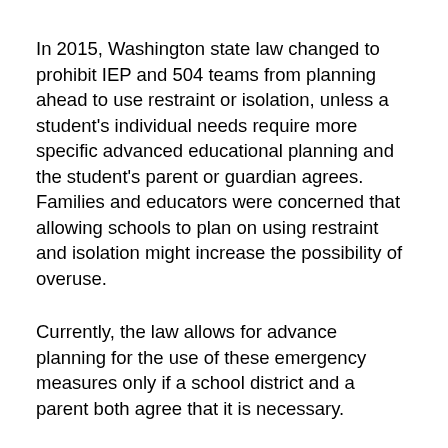In 2015, Washington state law changed to prohibit IEP and 504 teams from planning ahead to use restraint or isolation, unless a student's individual needs require more specific advanced educational planning and the student's parent or guardian agrees. Families and educators were concerned that allowing schools to plan on using restraint and isolation might increase the possibility of overuse.
Currently, the law allows for advance planning for the use of these emergency measures only if a school district and a parent both agree that it is necessary.
The district cannot require a parent to consent to an Emergency Response Protocol.
A parent's refusal to sign or consent to an Emergency Response Protocol does not necessarily mean a child will not